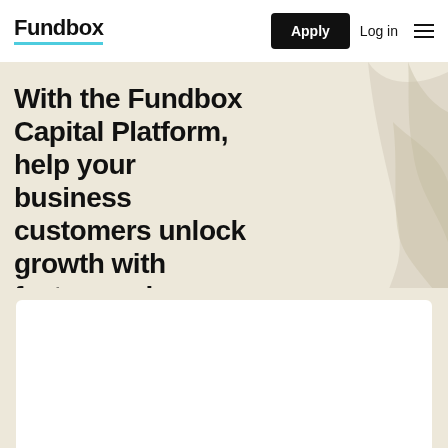Fundbox — Apply | Log in
With the Fundbox Capital Platform, help your business customers unlock growth with faster, easier access to credit.
Become a partner →